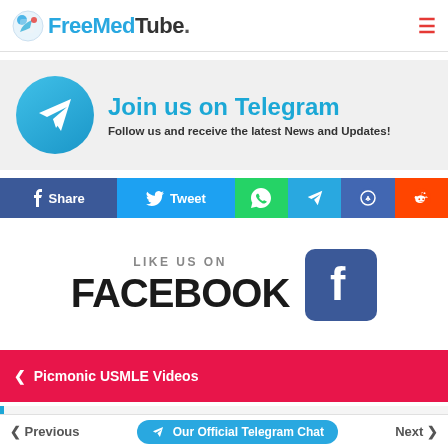FreeMedTube.
[Figure (infographic): Telegram join banner with blue circle Telegram logo and text 'Join us on Telegram - Follow us and receive the latest News and Updates!']
[Figure (infographic): Social share bar with Facebook Share, Twitter Tweet, WhatsApp, Telegram, Messenger, Reddit buttons]
[Figure (infographic): LIKE US ON FACEBOOK banner with Facebook icon]
< Picmonic USMLE Videos
LESSON
Acetazolamide - Picmonic USMLE Videos
< Previous   Our Official Telegram Chat   Next >